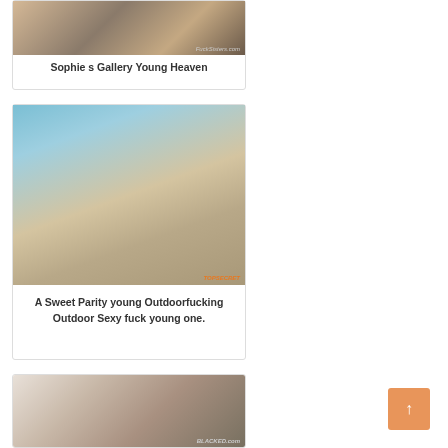[Figure (photo): Photo with watermark FuckSisters.com - couple on yellow couch]
Sophie s Gallery Young Heaven
[Figure (photo): Photo with watermark - outdoor scene couple]
A Sweet Parity young Outdoorfucking Outdoor Sexy fuck young one.
[Figure (photo): Photo with watermark BLACKED.com]